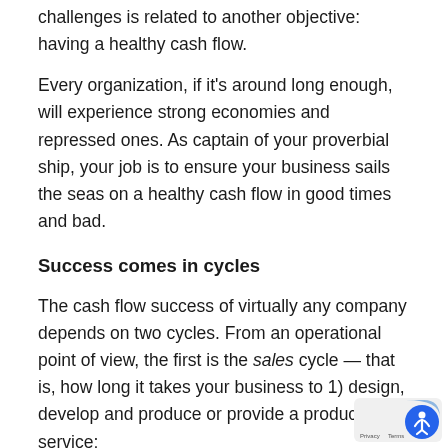challenges is related to another objective: having a healthy cash flow.
Every organization, if it's around long enough, will experience strong economies and repressed ones. As captain of your proverbial ship, your job is to ensure your business sails the seas on a healthy cash flow in good times and bad.
Success comes in cycles
The cash flow success of virtually any company depends on two cycles. From an operational point of view, the first is the sales cycle — that is, how long it takes your business to 1) design, develop and produce or provide a product or service;